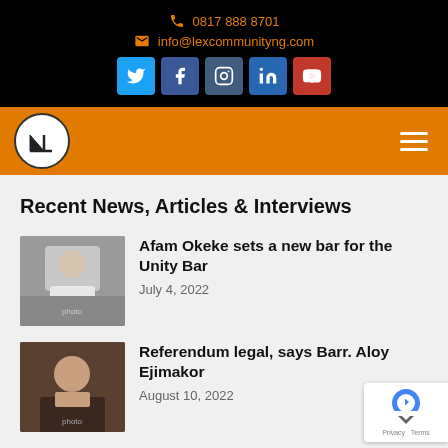0817 888 8701 | info@lexcommunityng.com
[Figure (screenshot): Navigation bar with LexCommunity logo and hamburger menu on orange background]
Recent News, Articles & Interviews
[Figure (photo): Photo of Afam Okeke]
Afam Okeke sets a new bar for the Unity Bar
July 4, 2022
[Figure (photo): Photo of Barr. Aloy Ejimakor]
Referendum legal, says Barr. Aloy Ejimakor
August 10, 2022